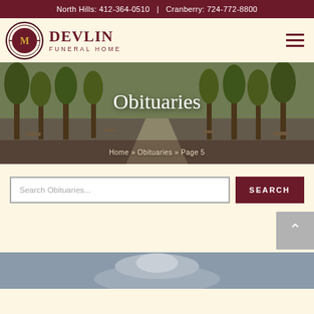North Hills: 412-364-0510  |  Cranberry: 724-772-8800
[Figure (logo): Devlin Funeral Home logo with circular emblem and text]
Obituaries
Home » Obituaries » Page 5
Search Obituaries...
[Figure (photo): Autumn tree-lined path park scene with park benches]
[Figure (photo): Partial photo of a person at bottom of page]